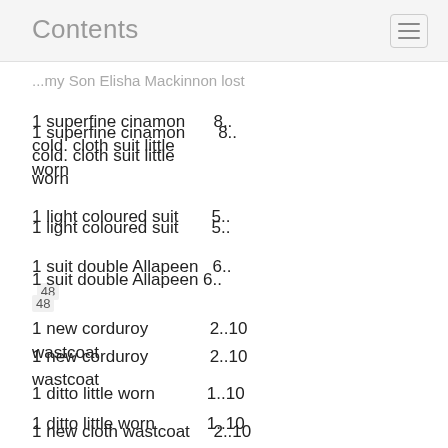Contents
...my Son Elisha Mackinnon lost
1 superfine cinamon cold. cloth suit little worn    8..
1 light coloured suit    5..
1 suit double Allapeen    6..  48
1 new corduroy wastcoat    2..10
1 ditto little worn    1..10
1 new cloth wastcoat    2..10
2 ditto little worn    1..15
1 pr. cloth breeches    ..12